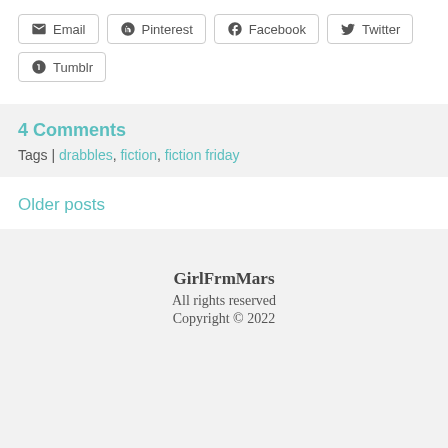Email | Pinterest | Facebook | Twitter | Tumblr (share buttons)
4 Comments
Tags | drabbles, fiction, fiction friday
Older posts
GirlFrmMars
All rights reserved
Copyright © 2022